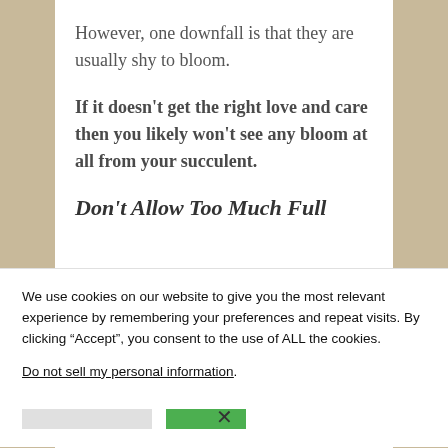However, one downfall is that they are usually shy to bloom.
If it doesn't get the right love and care then you likely won't see any bloom at all from your succulent.
Don't Allow Too Much Full
We use cookies on our website to give you the most relevant experience by remembering your preferences and repeat visits. By clicking “Accept”, you consent to the use of ALL the cookies.
Do not sell my personal information.